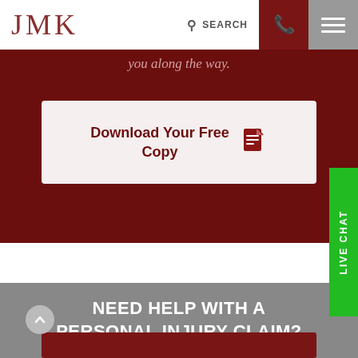JMK | SEARCH | phone | menu
you along the way.
Download Your Free Copy
NEED HELP WITH A PERSONAL INJURY CLAIM?